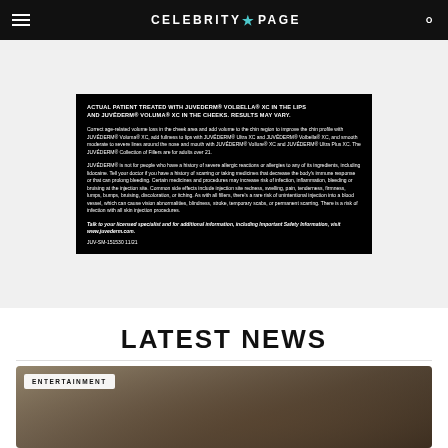CELEBRITY PAGE
[Figure (other): Juvederm advertisement on black background with medical disclaimer text. Title: ACTUAL PATIENT TREATED WITH JUVEDERM VOLBELLA XC IN THE LIPS AND JUVEDERM VOLUMA XC IN THE CHEEKS. RESULTS MAY VARY. Body text about Juvederm fillers, safety information. Talk to your licensed specialist and for additional information, including Important Safety Information, visit www.juvederm.com. JUV-SM-151530 11/21]
LATEST NEWS
[Figure (photo): Entertainment news card photo showing a person with blonde upswept hair in a dimly lit scene, viewed from profile/front.]